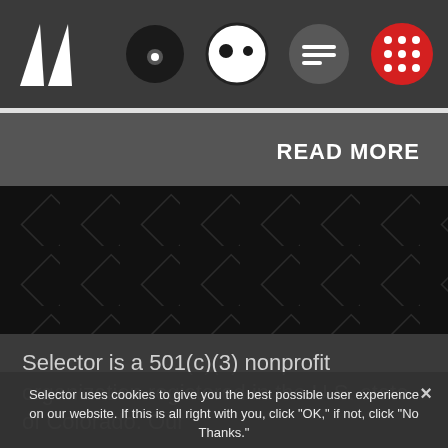[Figure (screenshot): Website navigation bar with white logo (two triangles/pillars) on dark gray background, four circular icons: black circle with dot, white/black face icon, speech bubble icon, red dotted grid icon]
[Figure (screenshot): Read More banner with progress bar and gray background]
[Figure (screenshot): Dark diamond pattern decorative background area]
Selector is a 501(c)(3) nonprofit organization registered in the U.S. state of Colorado. Our
Selector uses cookies to give you the best possible user experience on our website. If this is all right with you, click "OK," if not, click "No Thanks."
OK - Use Cookies
No Thanks - Do Not Use Cookies